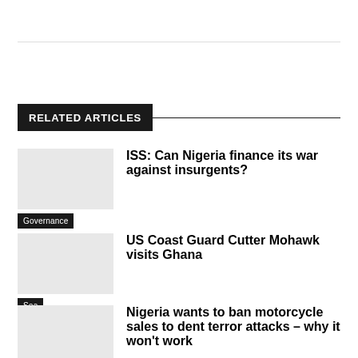RELATED ARTICLES
ISS: Can Nigeria finance its war against insurgents?
Governance
US Coast Guard Cutter Mohawk visits Ghana
Sea
Nigeria wants to ban motorcycle sales to dent terror attacks – why it won't work
Civil Security